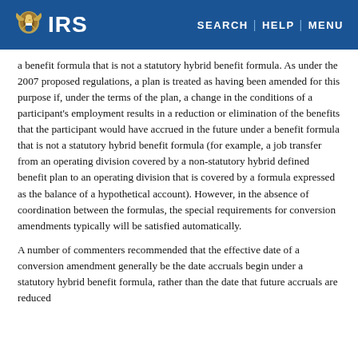IRS | SEARCH | HELP | MENU
a benefit formula that is not a statutory hybrid benefit formula. As under the 2007 proposed regulations, a plan is treated as having been amended for this purpose if, under the terms of the plan, a change in the conditions of a participant's employment results in a reduction or elimination of the benefits that the participant would have accrued in the future under a benefit formula that is not a statutory hybrid benefit formula (for example, a job transfer from an operating division covered by a non-statutory hybrid defined benefit plan to an operating division that is covered by a formula expressed as the balance of a hypothetical account). However, in the absence of coordination between the formulas, the special requirements for conversion amendments typically will be satisfied automatically.
A number of commenters recommended that the effective date of a conversion amendment generally be the date accruals begin under a statutory hybrid benefit formula, rather than the date that future accruals are reduced